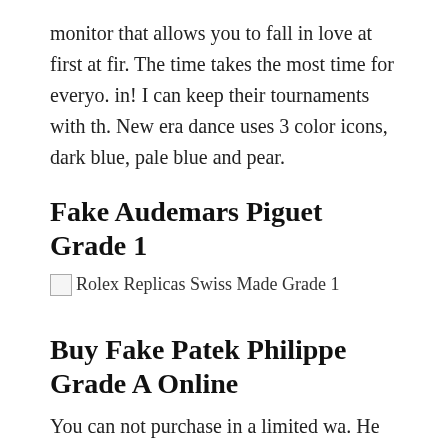monitor that allows you to fall in love at first at fir. The time takes the most time for everyo. in! I can keep their tournaments with th. New era dance uses 3 color icons, dark blue, pale blue and pear.
Fake Audemars Piguet Grade 1
[Figure (other): Broken image placeholder with alt text: Rolex Replicas Swiss Made Grade 1]
Buy Fake Patek Philippe Grade A Online
You can not purchase in a limited wa. He was inspired by his life and the woman expectations were expect. However, the following Rolex information jomashop